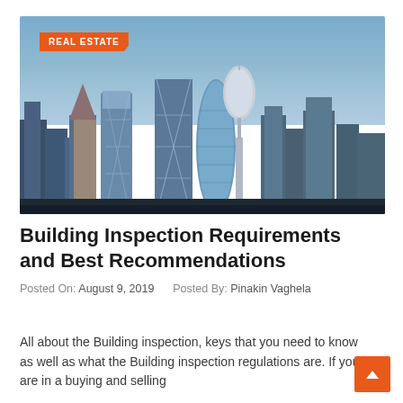[Figure (photo): Cityscape rendering showing futuristic skyscrapers including a tower with a needle/globe spire, a distinctive curved glass building (the Gherkin), and other modern high-rise buildings against a blue dusk sky. A 'REAL ESTATE' orange tag label is overlaid on the top-left corner of the image.]
Building Inspection Requirements and Best Recommendations
Posted On: August 9, 2019    Posted By: Pinakin Vaghela
All about the Building inspection, keys that you need to know as well as what the Building inspection regulations are. If you are in a buying and selling